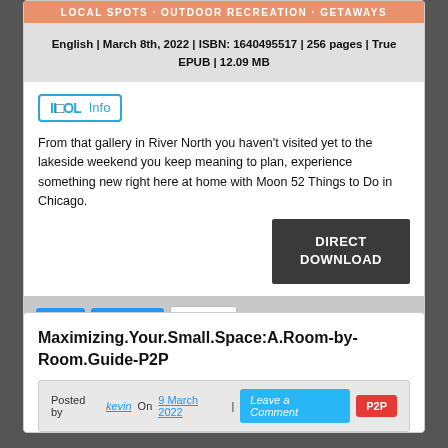[Figure (other): Orange banner with text LOCAL SPOTS · OUTDOOR RECREATION · GETAWAYS]
English | March 8th, 2022 | ISBN: 1640495517 | 256 pages | True EPUB | 12.09 MB
[Figure (logo): IIOOL Info badge logo in blue]
From that gallery in River North you haven't visited yet to the lakeside weekend you keep meaning to plan, experience something new right here at home with Moon 52 Things to Do in Chicago.
DIRECT DOWNLOAD
Tags:  Posted In:  EBooks
Maximizing.Your.Small.Space:A.Room-by-Room.Guide-P2P
Posted by kevin On 9 March 2022 | Leave a Comment  P2P